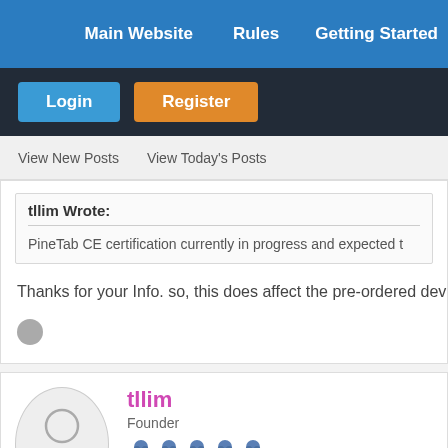Main Website   Rules   Getting Started
Login   Register
View New Posts   View Today's Posts
tllim Wrote:
PineTab CE certification currently in progress and expected t
Thanks for your Info. so, this does affect the pre-ordered devic
tllim
Founder
Moderator